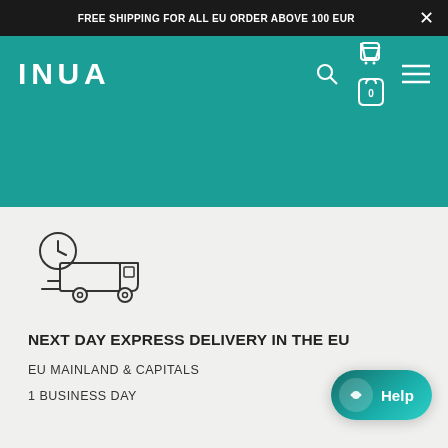FREE SHIPPING FOR ALL EU ORDER ABOVE 100 EUR
[Figure (logo): INUA brand logo in white text on teal navigation bar with search, cart (0), and hamburger menu icons]
[Figure (illustration): Delivery truck icon with clock indicating express/fast delivery service]
NEXT DAY EXPRESS DELIVERY IN THE EU
EU MAINLAND & CAPITALS
1 BUSINESS DAY